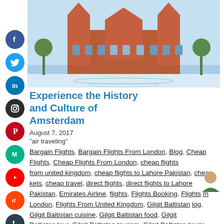[Figure (photo): Photo of Rijksmuseum Amsterdam building with water reflection, blue sky]
Experience the History and Culture of Amsterdam
August 7, 2017
"air traveling"
Bargain Flights, Bargain Flights From London, Blog, Cheap Flights, Cheap Flights From London, cheap flights from united kingdom, cheap flights to Lahore Pakistan, cheap tickets, cheap travel, direct flights, direct flights to Lahore Pakistan, Emirates Airline, flights, Flights Booking, Flights from London, Flights From United Kingdom, Gilgit Baltistan blog, Gilgit Baltistan cuisine, Gilgit Baltistan food, Gilgit Baltistan tour, Gilgit Baltistan tourism, Gilgit Baltistan tourist places, Gilgit Baltistan travel blog, Gilgit Baltistan Travel